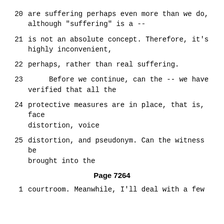20    are suffering perhaps even more than we do, although "suffering" is a --
21    is not an absolute concept.  Therefore, it's highly inconvenient,
22    perhaps, rather than real suffering.
23         Before we continue, can the -- we have verified that all the
24    protective measures are in place, that is, face distortion, voice
25    distortion, and pseudonym.  Can the witness be brought into the
Page 7264
1    courtroom.  Meanwhile, I'll deal with a few